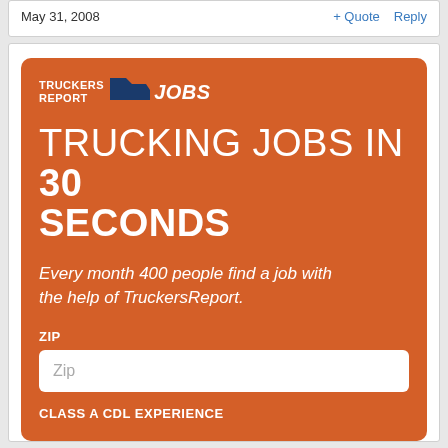May 31, 2008
+ Quote   Reply
[Figure (infographic): TruckersReport Jobs advertisement banner. Orange background with logo at top reading TRUCKERS REPORT with truck icon and JOBS. Large white headline: TRUCKING JOBS IN 30 SECONDS. Italic subtext: Every month 400 people find a job with the help of TruckersReport. ZIP input field with placeholder 'Zip'. Label at bottom: CLASS A CDL EXPERIENCE.]